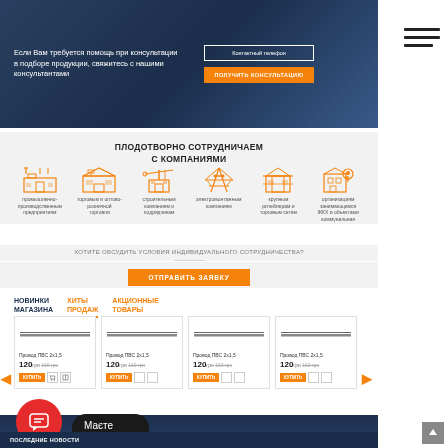[Figure (screenshot): Hero banner with dark blue background, consultation text in Russian, contact phone button and orange consultation button]
Если Вам требуется помощь при консультации
в подборе продукции, свяжитесь с нашими консультантами
Контактный телефон
ПОЛУЧИТЬ КОНСУЛЬТАЦИЮ
ПЛОДОТВОРНО СОТРУДНИЧАЕМ
С КОМПАНИЯМИ
[Figure (illustration): Six orange industry icons: factory, logistics/warehousing, crane/construction, power tower, construction/building, building with location pin]
ХОТИТЕ ОБСУДИТЬ УСЛОВИЯ ИНДИВИДУАЛЬНОГО СОТРУДНИЧЕСТВА?
ОТПРАВИТЬ ЗАЯВКУ
НОВИНКИ
МАГАЗИНА
ХИТЫ
ПРОДАЖ
АКЦИОННЫЕ
ТОВАРЫ
[Figure (screenshot): Four product cards showing Провод ПВС 2x1.5 cables at 120 грн with strikethrough price 160 грн, buy buttons]
Провод ПВС 2х1,5
120 грн 160 грн
Провод ПВС 2х1,5
120 грн 160 грн
Провод ПВС 2х1,5
120 грн 160 грн
Провод ПВС 2х1,5
120 грн 160 грн
Маєте
запитання?
[Figure (screenshot): Dark blue news section with Ukrainian text about company TOB Energomost and news about cable cameras]